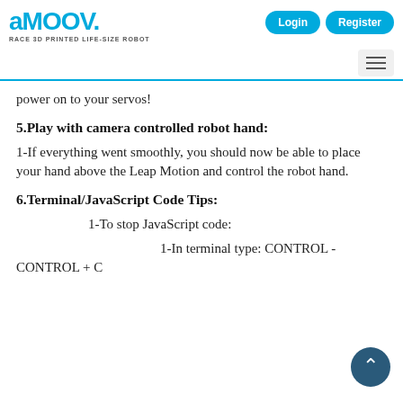aMOOV. RACE 3D PRINTED LIFE-SIZE ROBOT | Login | Register
power on to your servos!
5.Play with camera controlled robot hand:
1-If everything went smoothly, you should now be able to place your hand above the Leap Motion and control the robot hand.
6.Terminal/JavaScript Code Tips:
1-To stop JavaScript code:
1-In terminal type: CONTROL + C